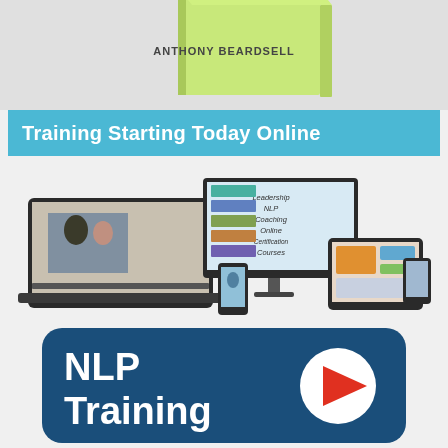[Figure (photo): Partial view of a book spine/cover with author name 'ANTHONY BEARDSELL' visible, light green cover on grey background]
Training Starting Today Online
[Figure (photo): Promotional image showing multiple devices (laptop, desktop monitor, tablet, smartphone) displaying online certification course content for Leadership, NLP, Coaching, Online Certification Courses with 'Videos, Resources and Demos' visible]
[Figure (infographic): Dark blue rounded rectangle button with white text 'NLP Training' and a red/orange play button triangle icon on the right, suggesting a video training link]